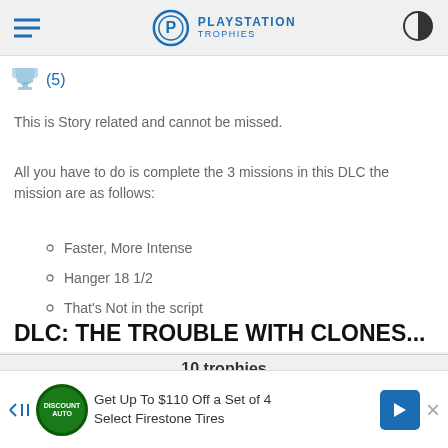PLAYSTATION TROPHIES
(5)
This is Story related and cannot be missed.
All you have to do is complete the 3 missions in this DLC the mission are as follows:
Faster, More Intense
Hanger 18 1/2
That's Not in the script
DLC: THE TROUBLE WITH CLONES...
10 trophies
Get Up To $110 Off a Set of 4 Select Firestone Tires